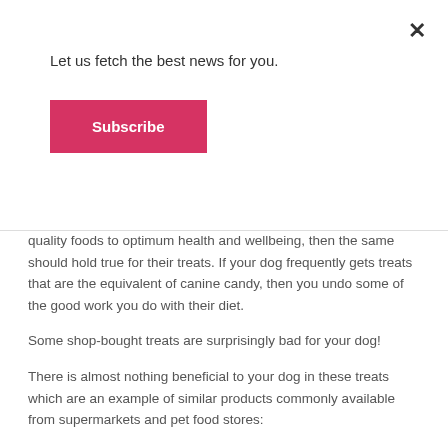Let us fetch the best news for you.
Subscribe
quality foods to optimum health and wellbeing, then the same should hold true for their treats. If your dog frequently gets treats that are the equivalent of canine candy, then you undo some of the good work you do with their diet.
Some shop-bought treats are surprisingly bad for your dog!
There is almost nothing beneficial to your dog in these treats which are an example of similar products commonly available from supermarkets and pet food stores:
Bakers Allsorts